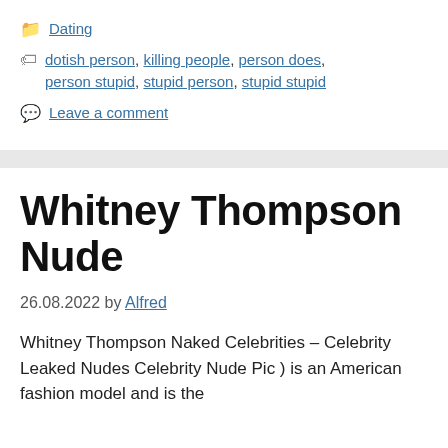📁 Dating
🏷 dotish person, killing people, person does, person stupid, stupid person, stupid stupid
💬 Leave a comment
Whitney Thompson Nude
26.08.2022 by Alfred
Whitney Thompson Naked Celebrities – Celebrity Leaked Nudes Celebrity Nude Pic ) is an American fashion model and is the